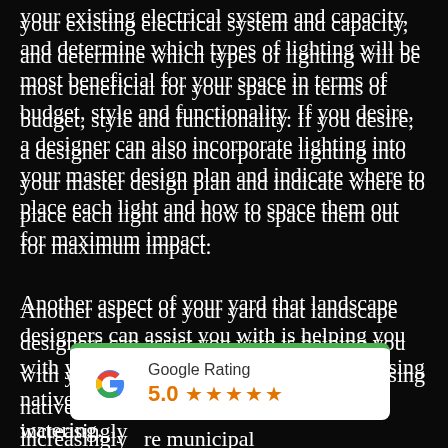your existing electrical system and capacity, and determine which types of lighting will be most beneficial for your space in terms of budget, style and functionality. If you desire, a designer can also incorporate lighting into your master design plan and indicate where to place each light and how to space them out for maximum impact.

Another aspect of your yard that landscape designers can assist you with is helping you with your plant choices. In recent years, using native plants in landscaping has become increasingly [popular, as more municipal ...restrictions/limits on outdoor watering.]
[Figure (other): Google Rating widget showing 5.0 stars with five orange star icons, white background with green top border]